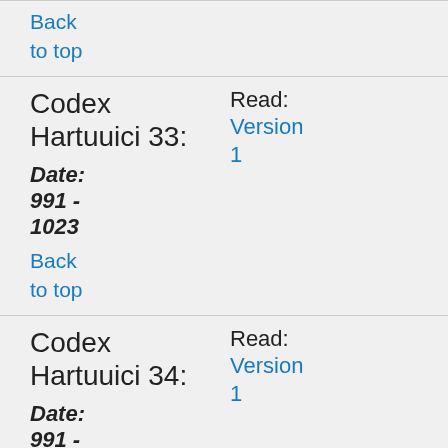Back to top
Codex Hartuuici 33:
Read: Version 1
Date: 991 - 1023
Back to top
Codex Hartuuici 34:
Read: Version 1
Date: 991 - 1023